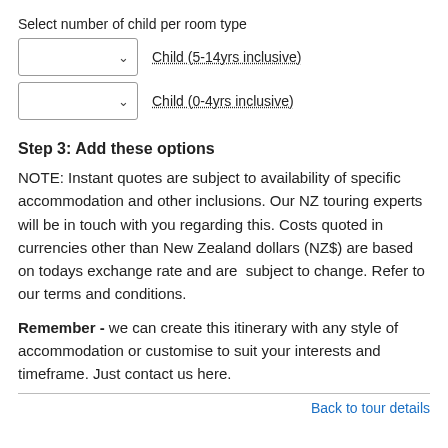Select number of child per room type
Child (5-14yrs inclusive)
Child (0-4yrs inclusive)
Step 3: Add these options
NOTE: Instant quotes are subject to availability of specific accommodation and other inclusions. Our NZ touring experts will be in touch with you regarding this. Costs quoted in currencies other than New Zealand dollars (NZ$) are based on todays exchange rate and are  subject to change. Refer to our terms and conditions.
Remember - we can create this itinerary with any style of accommodation or customise to suit your interests and timeframe. Just contact us here.
Back to tour details